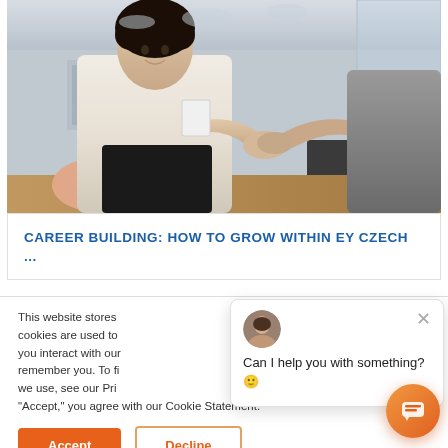[Figure (photo): Two people shaking hands in a modern office environment. A woman in a white blazer with dark hair is smiling and shaking hands with another person in a grey sweater. Office chairs and glass walls visible in the background.]
CAREER BUILDING: HOW TO GROW WITHIN EY CZECH ...
This website stores cookies are used to you interact with our remember you. To fi we use, see our Pri "Accept," you agree with our Cookie Statement.
Can I help you with something? 🙂
Accept
Decline